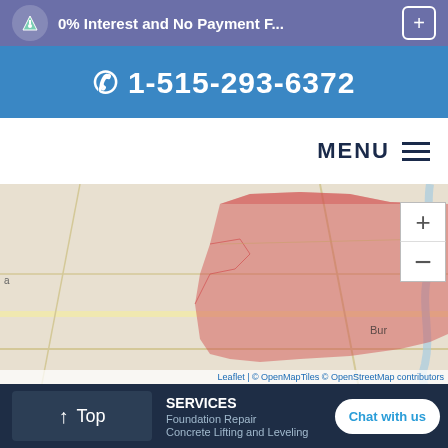0% Interest and No Payment F...
1-515-293-6372
MENU
[Figure (map): Service area map showing a highlighted pink/red region on a road map with zoom controls (+/-). Attribution: Leaflet | © OpenMapTiles © OpenStreetMap contributors]
Leaflet | © OpenMapTiles © OpenStreetMap contributors
Top | SERVICES | Foundation Repair | Concrete Lifting and Leveling | Chat with us